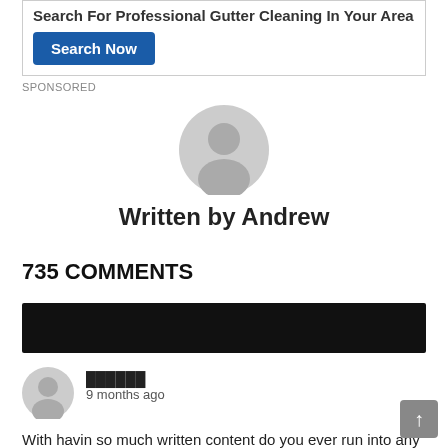[Figure (other): Advertisement box with bold heading 'Search For Professional Gutter Cleaning In Your Area' and a blue 'Search Now' button]
SPONSORED
[Figure (other): Large circular grey avatar/profile placeholder icon]
Written by Andrew
735 COMMENTS
[Figure (other): Black redacted/censored bar]
[Figure (other): Small circular grey avatar/profile placeholder icon for commenter]
██████
9 months ago
With havin so much written content do you ever run into any problems of plagorism or copyright violation? My website has a lot of unique content I've either